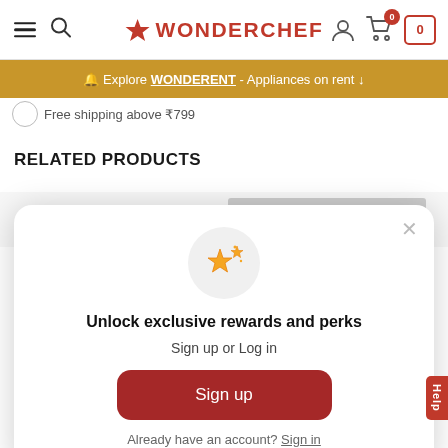Wonderchef navigation bar with hamburger menu, search, logo, user, cart icons
🔔 Explore WONDERENT - Appliances on rent ↓
Free shipping above ₹799
RELATED PRODUCTS
[Figure (screenshot): Modal popup on Wonderchef website with sparkle star icon, title 'Unlock exclusive rewards and perks', subtitle 'Sign up or Log in', a red Sign up button, and 'Already have an account? Sign in' link]